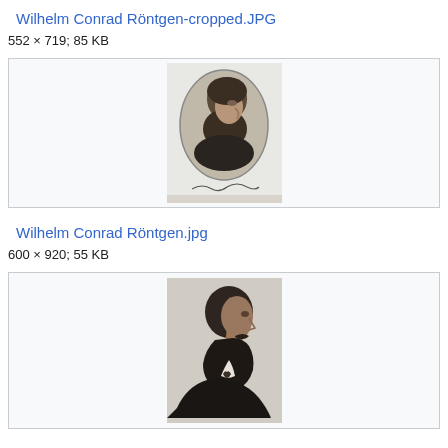Wilhelm Conrad Röntgen-cropped.JPG
552 × 719; 85 KB
[Figure (photo): Oval black-and-white portrait photograph of Wilhelm Conrad Röntgen with a beard, facing left, with a signature below the portrait.]
Wilhelm Conrad Röntgen.jpg
600 × 920; 55 KB
[Figure (photo): Black-and-white side profile photograph of Wilhelm Conrad Röntgen with a full beard, facing left, wearing a dark suit.]